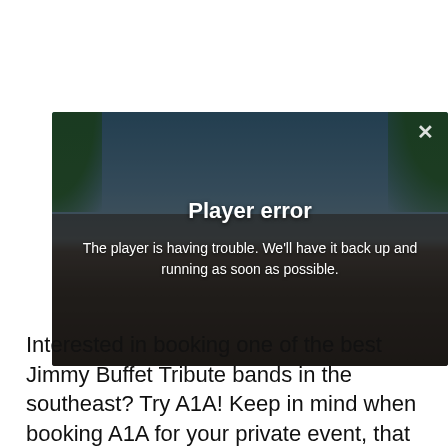[Figure (screenshot): Video player showing a group photo of a band (Jimmy Buffett tribute band A1A) in front of a tropical beach backdrop with palm trees. An error overlay reads 'Player error' with message 'The player is having trouble. We'll have it back up and running as soon as possible.' A close (X) button is in the top right corner.]
Interested in booking one of the best Jimmy Buffet Tribute bands in the southeast? Try A1A! Keep in mind when booking A1A for your private event, that although A1A is well-known across the country as The Original Jimmy Buffett Cover Show, they are